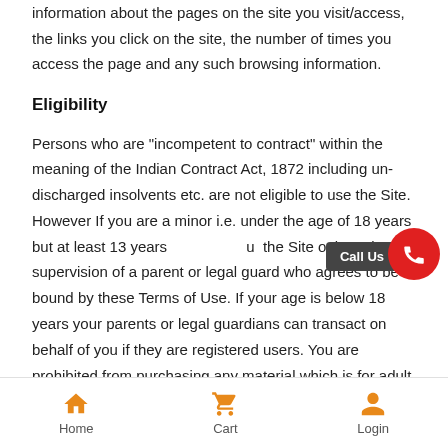information about the pages on the site you visit/access, the links you click on the site, the number of times you access the page and any such browsing information.
Eligibility
Persons who are "incompetent to contract" within the meaning of the Indian Contract Act, 1872 including un-discharged insolvents etc. are not eligible to use the Site. However If you are a minor i.e. under the age of 18 years but at least 13 years u the Site only under the supervision of a parent or legal guardi who agrees to be bound by these Terms of Use. If your age is below 18 years your parents or legal guardians can transact on behalf of you if they are registered users. You are prohibited from purchasing any material which is for adult consumption and the sale of which
Home  Cart  Login